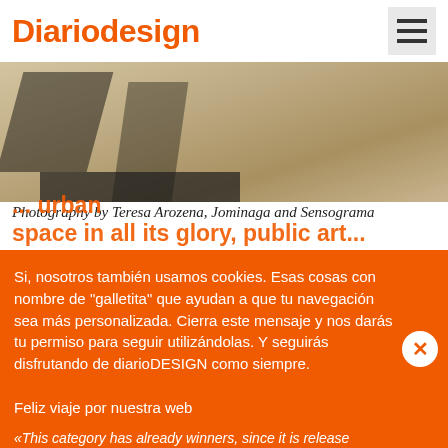Diariodesign
[Figure (photo): Aerial or close-up photo of an open urban square/plaza with geometric shadows and road markings on light-colored pavement]
Photography by Teresa Arozena, Jominaga and Sensograma
«An open square that has no other use than to transit through; a road marking as casual as a pedestrian crossing; a space that shares its protagonism with an honest, transparent, element... urban space in all its glory, public art...
has more than one unique award
«This category has already winners, since it is release
Si, nosotros también usamos cookies. Esas cosas con nombre de "galletita" que ayudan a que tu navegación sea más personalizada. Cierra este mensaje y nos darás tu permiso para seguir utilizándolas. Y seguirás disfrutando de diarioDESIGN como siempre.

Feliz viaje por nuestra web